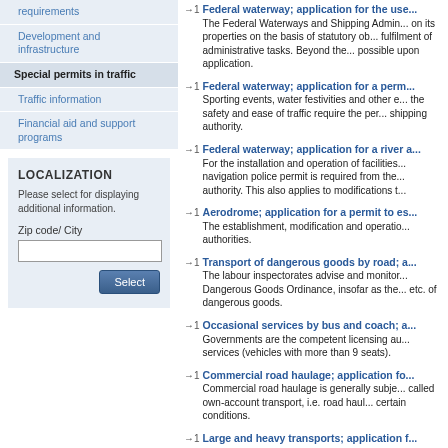requirements
Development and infrastructure
Special permits in traffic
Traffic information
Financial aid and support programs
LOCALIZATION
Please select for displaying additional information.
Zip code/ City
Federal waterway; application for the use... The Federal Waterways and Shipping Admin... on its properties on the basis of statutory ob... fulfilment of administrative tasks. Beyond the... possible upon application.
Federal waterway; application for a perm... Sporting events, water festivities and other e... the safety and ease of traffic require the per... shipping authority.
Federal waterway; application for a river a... For the installation and operation of facilities... navigation police permit is required from the... authority. This also applies to modifications t...
Aerodrome; application for a permit to es... The establishment, modification and operatio... authorities.
Transport of dangerous goods by road; a... The labour inspectorates advise and monitor... Dangerous Goods Ordinance, insofar as the... etc. of dangerous goods.
Occasional services by bus and coach; a... Governments are the competent licensing au... services (vehicles with more than 9 seats).
Commercial road haulage; application fo... Commercial road haulage is generally subje... called own-account transport, i.e. road haul... certain conditions.
Large and heavy transports; application f... A permit is required for traffic with vehicles w... exceed the limits generally permitted by law...